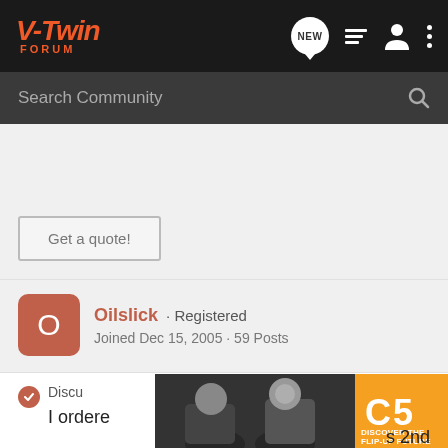V-Twin Forum
Search Community
[Figure (screenshot): Advertisement area with 'Get a quote!' button]
Oilslick · Registered
Joined Dec 15, 2005 · 59 Posts
Discu... I ordere... s 2nd
[Figure (photo): Motorcycle riders and helmet advertisement for C5 flip-up helmet - DISCOVER THE FLIP-UP FUTURE]